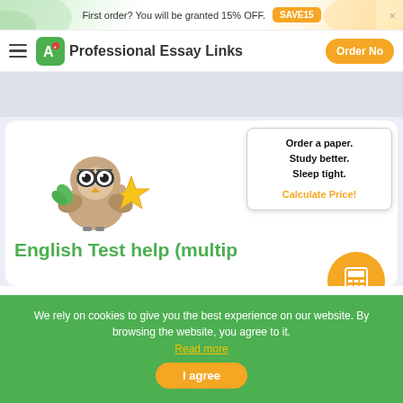First order? You will be granted 15% OFF. SAVE15
Professional Essay Links  Order Now
[Figure (illustration): Owl mascot illustration holding a golden star, wearing glasses and a graduation-style outfit]
Order a paper. Study better. Sleep tight. Calculate Price!
English Test help (multip...
We rely on cookies to give you the best experience on our website. By browsing the website, you agree to it. Read more
I agree